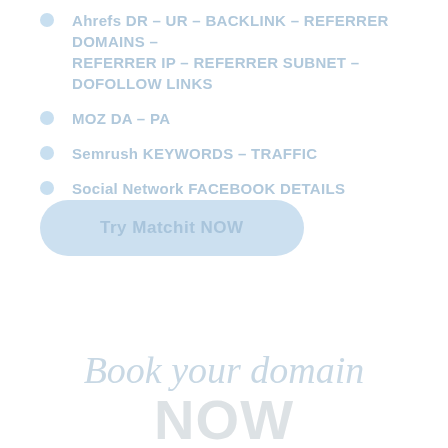Ahrefs DR – UR – BACKLINK – REFERRER DOMAINS – REFERRER IP – REFERRER SUBNET – DOFOLLOW LINKS
MOZ DA – PA
Semrush KEYWORDS – TRAFFIC
Social Network FACEBOOK DETAILS
Try Matchit NOW
Book your domain
NOW